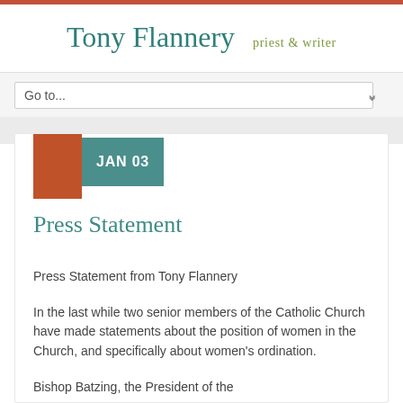Tony Flannery — priest & writer
Go to...
JAN 03
Press Statement
Press Statement from Tony Flannery
In the last while two senior members of the Catholic Church have made statements about the position of women in the Church, and specifically about women's ordination.
Bishop Batzing, the President of the